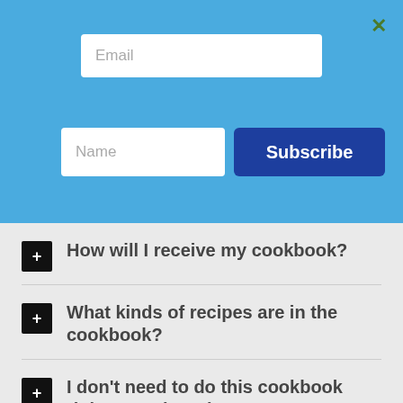[Figure (screenshot): Email input field in a light blue subscription banner]
[Figure (screenshot): Name input field and Subscribe button in light blue banner]
+ How will I receive my cookbook?
+ What kinds of recipes are in the cookbook?
+ I don't need to do this cookbook right now, though...
+ What happens if I don't like it?